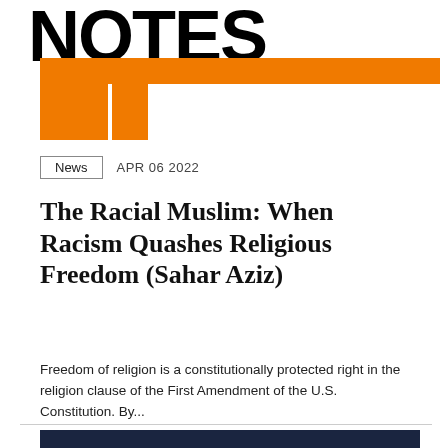NOTES
News   APR 06 2022
The Racial Muslim: When Racism Quashes Religious Freedom (Sahar Aziz)
Freedom of religion is a constitutionally protected right in the religion clause of the First Amendment of the U.S. Constitution. By...
[Figure (illustration): Book cover or report cover image with dark navy background and bold red text reading 'IMPACTS OF THE RUSSIAN INVASION' with white text above reading 'ENERGY AND ECONOMIC']